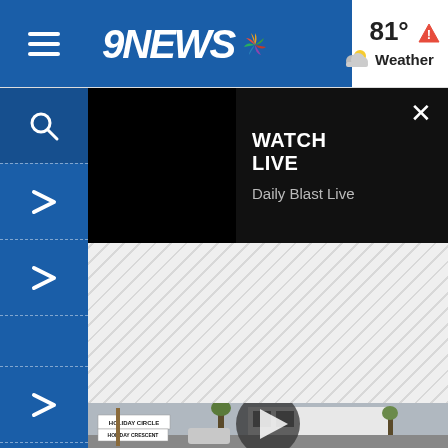9NEWS - Weather 81°
WATCH LIVE
Daily Blast Live
[Figure (screenshot): Street view photo showing Holiday Circle and Holiday Crescent street signs with a play button overlay, residential buildings and trees in background]
[Figure (screenshot): Gray hatched advertisement placeholder area]